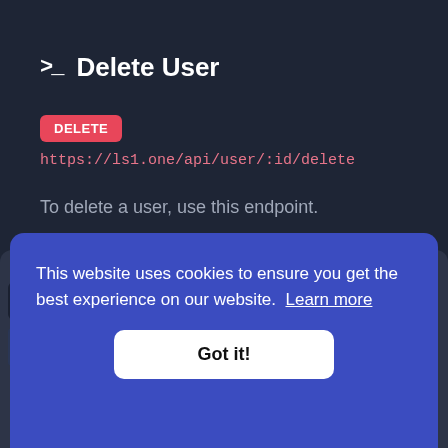>_ Delete User
DELETE
https://ls1.one/api/user/:id/delete
To delete a user, use this endpoint.
This website uses cookies to ensure you get the best experience on our website. Learn more
Got it!